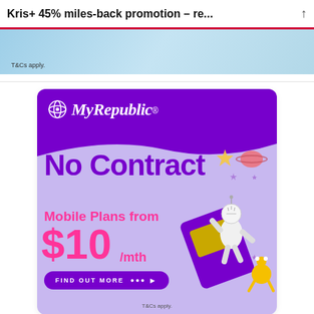Kris+ 45% miles-back promotion – re...
[Figure (illustration): Light blue promotional banner strip with T&Cs apply text]
[Figure (illustration): MyRepublic advertisement: No Contract Mobile Plans from $10/mth. Purple and lavender background with cartoon astronaut and space elements. Find Out More button. T&Cs apply.]